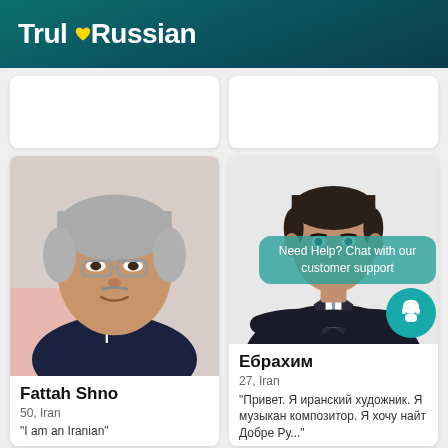TrulyRussian
[Figure (photo): Partial profile card top-left, white card with no visible photo content]
[Figure (photo): Partial profile card top-right, white card with no visible photo content]
[Figure (photo): Photo of Fattah Shno, older man with gray hair and glasses, dark shirt]
Fattah Shno
50, Iran
"I am an Iranian"
[Figure (photo): Photo of Ебрахим, young man in dark suit with arms crossed]
Ебрахим
27, Iran
"Привет. Я иранский художник. Я музыкан композитор. Я хочу найт Добре Ру..."
Need Help? Chat with our customer support